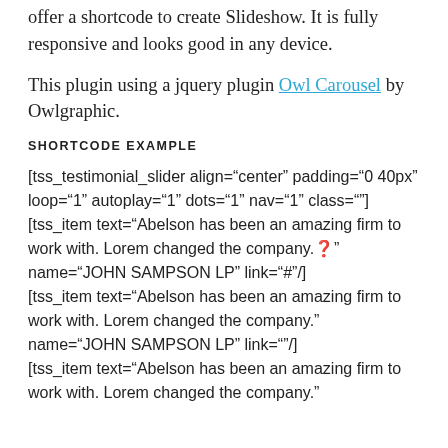offer a shortcode to create Slideshow. It is fully responsive and looks good in any device.
This plugin using a jquery plugin Owl Carousel by Owlgraphic.
SHORTCODE EXAMPLE
[tss_testimonial_slider align="center" padding="0 40px" loop="1" autoplay="1" dots="1" nav="1" class=""]
[tss_item text="Abelson has been an amazing firm to work with. Lorem changed the company.❓" name="JOHN SAMPSON LP" link="#"/]
[tss_item text="Abelson has been an amazing firm to work with. Lorem changed the company." name="JOHN SAMPSON LP" link=""/]
[tss_item text="Abelson has been an amazing firm to work with. Lorem changed the company."